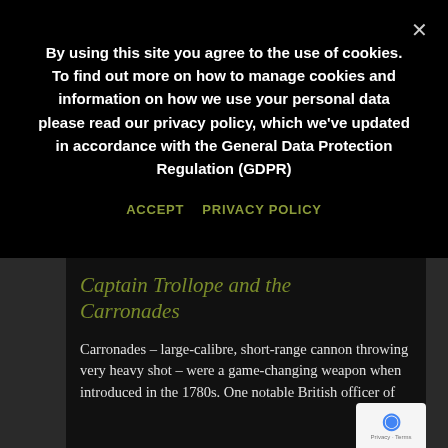By using this site you agree to the use of cookies. To find out more on how to manage cookies and information on how we use your personal data please read our privacy policy, which we've updated in accordance with the General Data Protection Regulation (GDPR)
ACCEPT   PRIVACY POLICY
Captain Trollope and the Carronades
Carronades – large-calibre, short-range cannon throwing very heavy shot – were a game-changing weapon when introduced in the 1780s. One notable British officer of